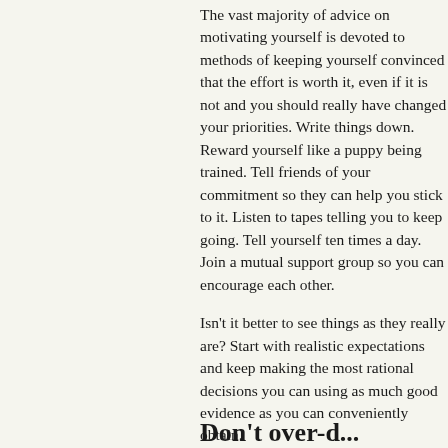The vast majority of advice on motivating yourself is devoted to methods of keeping yourself convinced that the effort is worth it, even if it is not and you should really have changed your priorities. Write things down. Reward yourself like a puppy being trained. Tell friends of your commitment so they can help you stick to it. Listen to tapes telling you to keep going. Tell yourself ten times a day. Join a mutual support group so you can encourage each other.
Isn't it better to see things as they really are? Start with realistic expectations and keep making the most rational decisions you can using as much good evidence as you can conveniently obtain.
Don't over-d...